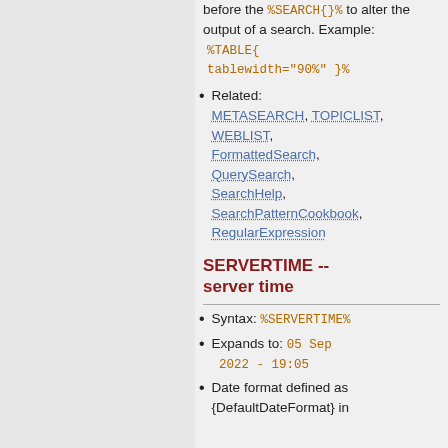before the %SEARCH{}% to alter the output of a search. Example:
%TABLE{
tablewidth="90%" }%
Related: METASEARCH, TOPICLIST, WEBLIST, FormattedSearch, QuerySearch, SearchHelp, SearchPatternCookbook, RegularExpression
SERVERTIME -- server time
Syntax: %SERVERTIME%
Expands to: 05 Sep 2022 - 19:05
Date format defined as {DefaultDateFormat} in